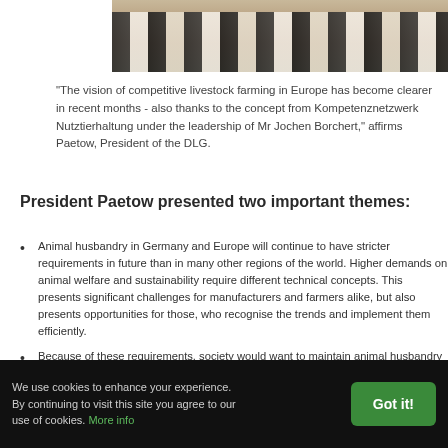[Figure (photo): Cattle/cows in a livestock barn or feeding area, viewed from behind, partial crop at top of page]
"The vision of competitive livestock farming in Europe has become clearer in recent months - also thanks to the concept from Kompetenznetzwerk Nutztierhaltung under the leadership of Mr Jochen Borchert," affirms Paetow, President of the DLG.
President Paetow presented two important themes:
Animal husbandry in Germany and Europe will continue to have stricter requirements in future than in many other regions of the world. Higher demands on animal welfare and sustainability require different technical concepts. This presents significant challenges for manufacturers and farmers alike, but also presents opportunities for those, who recognise the trends and implement them efficiently.
Because of these requirements, society would want to maintain animal husbandry in Germany, and this also includes maintaining perspective in global competition.
We use cookies to enhance your experience. By continuing to visit this site you agree to our use of cookies. More info